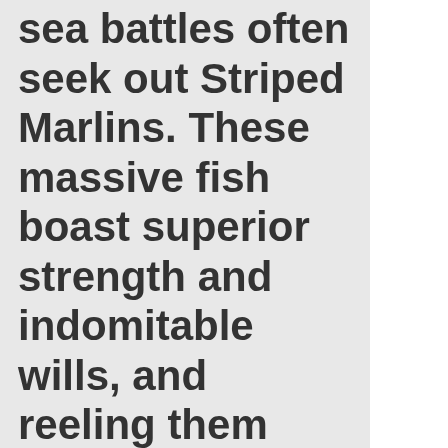sea battles often seek out Striped Marlins. These massive fish boast superior strength and indomitable wills, and reeling them always proves exciting. They will fight against the line every time.